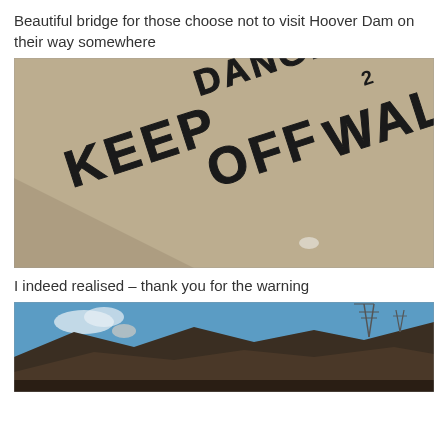Beautiful bridge for those choose not to visit Hoover Dam on their way somewhere
[Figure (photo): Close-up photo of concrete surface with stenciled text reading 'DANGER KEEP OFF WALL' in large black letters]
I indeed realised – thank you for the warning
[Figure (photo): Outdoor photo of rocky canyon hills under blue sky with power line towers visible in the background, near Hoover Dam area]